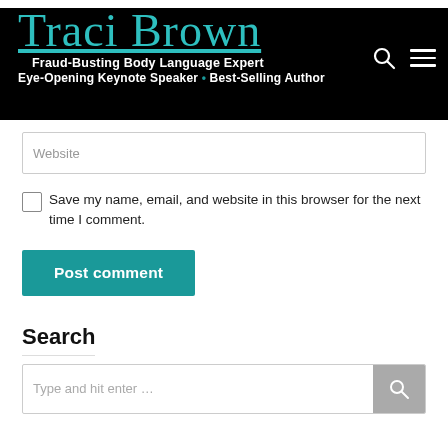Traci Brown — Fraud-Busting Body Language Expert Eye-Opening Keynote Speaker • Best-Selling Author
Website
Save my name, email, and website in this browser for the next time I comment.
Post comment
Search
Type and hit enter…